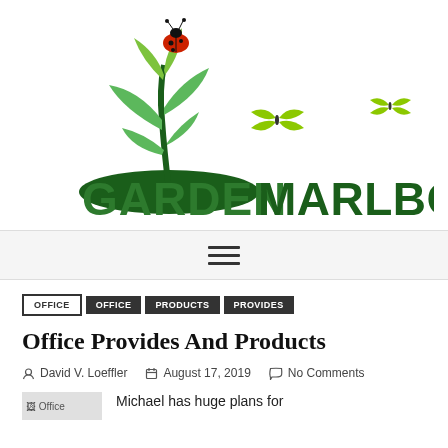[Figure (logo): Garden Marlborough logo with plant, ladybug, butterflies, and bold green text]
[Figure (other): Hamburger menu icon (three horizontal lines)]
OFFICE
OFFICE
PRODUCTS
PROVIDES
Office Provides And Products
David V. Loeffler   August 17, 2019   No Comments
Michael has huge plans for